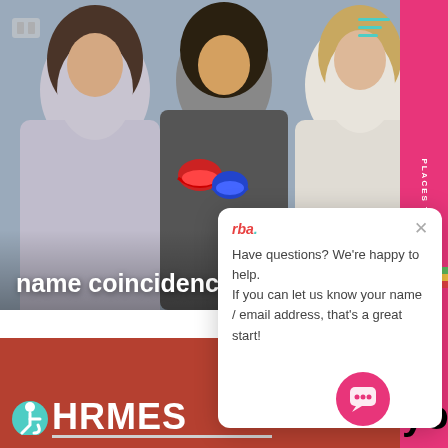[Figure (photo): Three women standing together and smiling, one wearing a Rolling Stones graphic tee, others in casual tops]
name coincidences at rba
[Figure (screenshot): Chat widget popup with rba logo showing text: Have questions? We're happy to help. If you can let us know your name / email address, that's a great start!]
Have questions? We're happy to help. If you can let us know your name / email address, that's a great start!
[Figure (logo): HORMES logo with stylized wing and accessibility icon on rust-red background]
[Figure (illustration): Pink circular chat button icon bottom right]